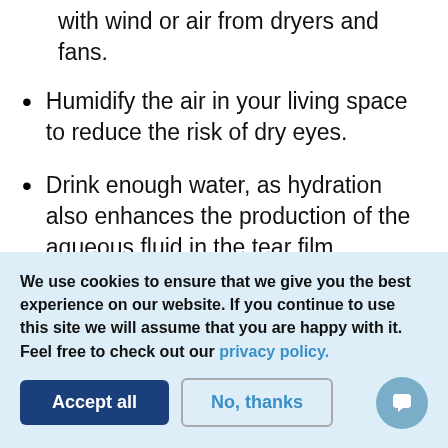with wind or air from dryers and fans.
Humidify the air in your living space to reduce the risk of dry eyes.
Drink enough water, as hydration also enhances the production of the aqueous fluid in the tear film.
Reduce the intake of caffeine and other medications that negatively impacts the water
We use cookies to ensure that we give you the best experience on our website. If you continue to use this site we will assume that you are happy with it. Feel free to check out our privacy policy.